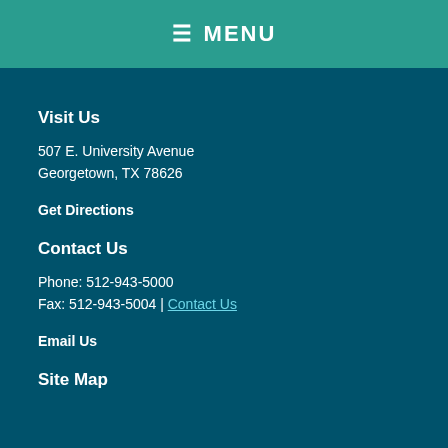≡ MENU
Visit Us
507 E. University Avenue
Georgetown, TX 78626
Get Directions
Contact Us
Phone: 512-943-5000
Fax: 512-943-5004 | Contact Us
Email Us
Site Map